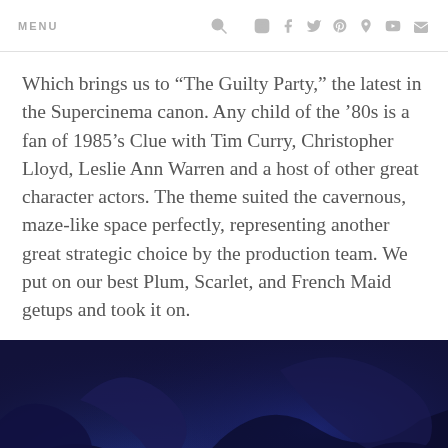MENU
Which brings us to “The Guilty Party,” the latest in the Supercinema canon. Any child of the ’80s is a fan of 1985’s Clue with Tim Curry, Christopher Lloyd, Leslie Ann Warren and a host of other great character actors. The theme suited the cavernous, maze-like space perfectly, representing another great strategic choice by the production team. We put on our best Plum, Scarlet, and French Maid getups and took it on.
[Figure (photo): Dark blue-toned atmospheric photo, likely from a theatrical or cinematic scene with dramatic lighting and dark abstract shapes.]